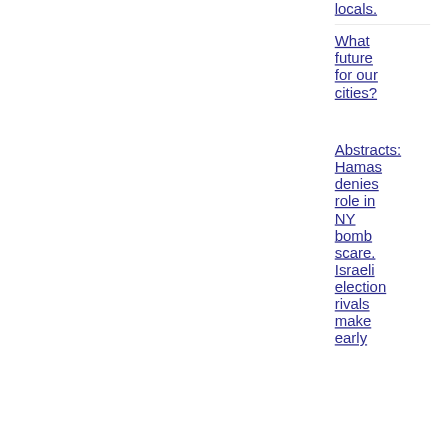locals.
What future for our cities?
Abstracts: Hamas denies role in NY bomb scare.
Israeli election rivals make early